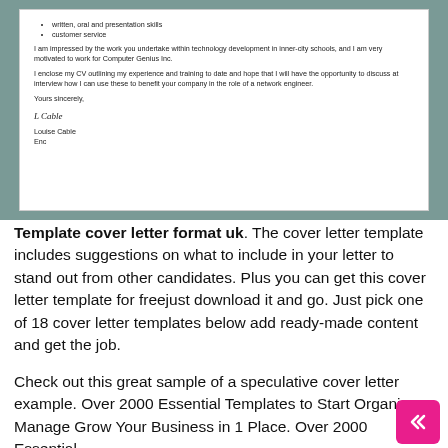[Figure (screenshot): Scanned cover letter document showing bullet points for written, oral and presentation skills and customer service, followed by paragraphs of letter body text, a sign-off 'Yours sincerely', a cursive signature 'L Cable', and the name 'Louise Cable' with 'Enc'.]
Template cover letter format uk. The cover letter template includes suggestions on what to include in your letter to stand out from other candidates. Plus you can get this cover letter template for freejust download it and go. Just pick one of 18 cover letter templates below add ready-made content and get the job.
Check out this great sample of a speculative cover letter example. Over 2000 Essential Templates to Start Organize Manage Grow Your Business in 1 Place. Over 2000 Essential